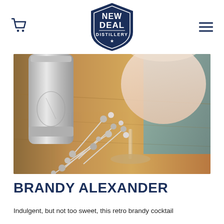NEW DEAL DISTILLERY
[Figure (photo): A cocktail shaker and a large balloon-style cocktail glass on a wooden table, decorated with sparkly silver and white berry picks, with a teal curtain in the background.]
BRANDY ALEXANDER
Indulgent, but not too sweet, this retro brandy cocktail